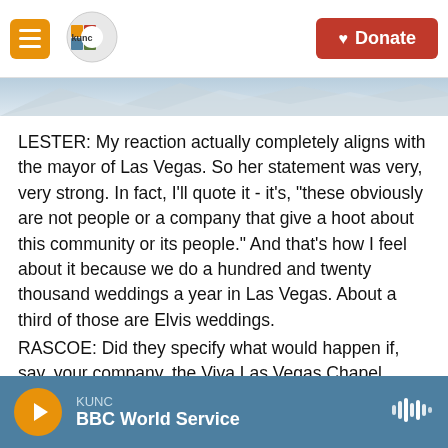KUNC logo and Donate button header
[Figure (illustration): Mountain landscape background image strip]
LESTER: My reaction actually completely aligns with the mayor of Las Vegas. So her statement was very, very strong. In fact, I'll quote it - it's, "these obviously are not people or a company that give a hoot about this community or its people." And that's how I feel about it because we do a hundred and twenty thousand weddings a year in Las Vegas. About a third of those are Elvis weddings.
RASCOE: Did they specify what would happen if, say, your company, the Viva Las Vegas Chapel, didn't comply with this?
KUNC | BBC World Service — audio player bar